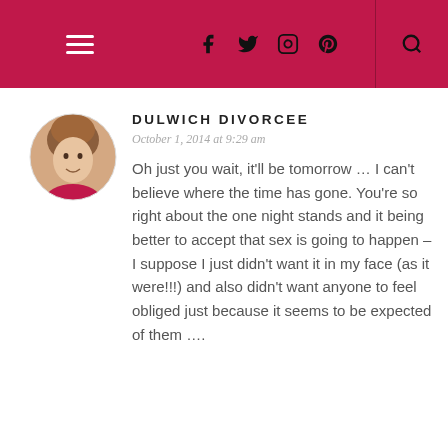DULWICH DIVORCEE — blog header with navigation icons
[Figure (photo): Circular avatar photo of a woman with brown hair, smiling]
DULWICH DIVORCEE
October 1, 2014 at 9:29 am
Oh just you wait, it'll be tomorrow … I can't believe where the time has gone. You're so right about the one night stands and it being better to accept that sex is going to happen – I suppose I just didn't want it in my face (as it were!!!) and also didn't want anyone to feel obliged just because it seems to be expected of them ….